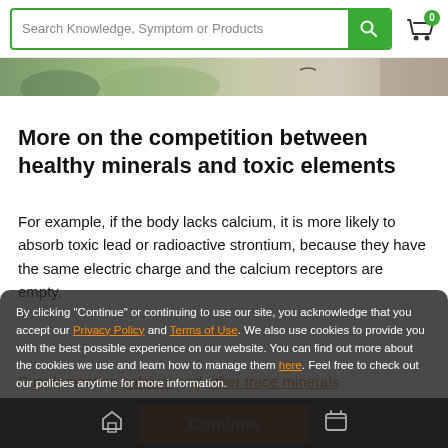Search Knowledge, Symptom or Products
[Figure (photo): Hero banner image showing nature/green background]
More on the competition between healthy minerals and toxic elements
For example, if the body lacks calcium, it is more likely to absorb toxic lead or radioactive strontium, because they have the same electric charge and the calcium receptors are empty.
Supplementing calcium and other trace minerals can help push out harmful elements. TOWARDS natural minerals is one method of detoxing
By clicking "Continue" or continuing to use our site, you acknowledge that you accept our Privacy Policy and Terms of Use. We also use cookies to provide you with the best possible experience on our website. You can find out more about the cookies we use and learn how to manage them here. Feel free to check out our policies anytime for more information.